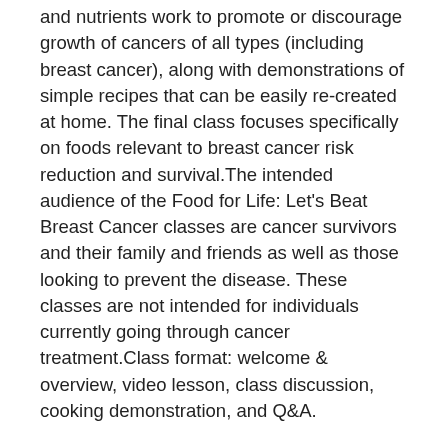and nutrients work to promote or discourage growth of cancers of all types (including breast cancer), along with demonstrations of simple recipes that can be easily re-created at home. The final class focuses specifically on foods relevant to breast cancer risk reduction and survival.The intended audience of the Food for Life: Let's Beat Breast Cancer classes are cancer survivors and their family and friends as well as those looking to prevent the disease. These classes are not intended for individuals currently going through cancer treatment.Class format: welcome & overview, video lesson, class discussion, cooking demonstration, and Q&A.
Ages: 18+
Fee: $50